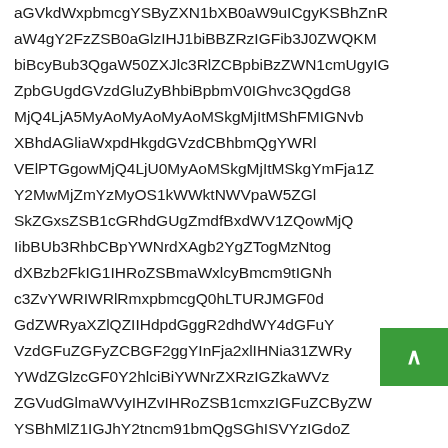aGVkdWxpbmcgYSByZXN1bXB0aW9uICgyKSBhZnR aW4gY2FzZSB0aGlzIHJ1biBBZRzIGFib3J0ZWQKM biBcyBub3QgaW50ZXJlc3RlZCBpbiBzZWN1cmUgyIG ZpbGUgdGVzdGluZyBhbiBpbmV0IGhvc3QgdG9 MjQ4LjA5MyAoMyAoMyAoMSkgMjItMShFMIGNvb XBhdAGliaWxpdHkgdGVzdCBhbmQgYWRs VElPTGgowMjQ4LjU0MyAoMSkgMjItMSkgYmFja1Z Y2MwMjZmYzMyOS1kWWktNWVpaW5ZGl SkZGxsZSB1cGRhdGUgZmdfBxdWV1ZQowMjQ IibBUb3RhbCBpYWNrdXAgb2YgZTogMzNtog dXBzb2FkIG1IHRoZSBmaWxlcyBmcm9tIGNh c3ZvYWRIWRlRmxpbmcgQ0hLTURJMGF0d GdZWRyaXZlQZIIHdpdGggR2dhdWY4dGFuY VzdGFuZGFyZCBGF2ggYInFja2xlIHNia31ZWRy YWdZGlzcGF0Y2hlciBiYWNrZXRzIGZkaWVz ZGVudGlmaWVyIHZvIHRoZSB1cmxzIGFuZCByZW YSBhMlZ1IGJhY2tncm91bmQgSGhISVYzIGdoZ aMzBnS0hJSVpuJGMgZ2dkRzZYWwagm90IHByZXZlbnRlZA